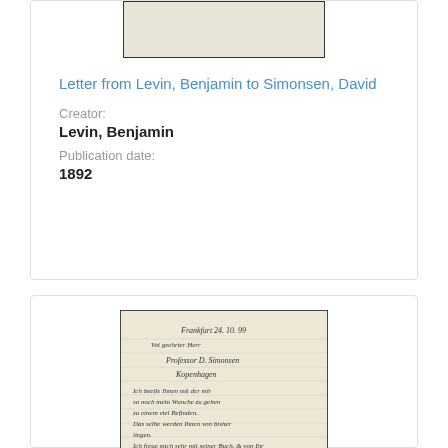[Figure (photo): Thumbnail image of a letter document, beige/cream colored paper with dark border]
Letter from Levin, Benjamin to Simonsen, David
Creator:
Levin, Benjamin
Publication date:
1892
[Figure (photo): Thumbnail image of a handwritten letter in German script, beginning with 'Frankfurt' and addressed to Professor D. Simonsen, Copenhagen]